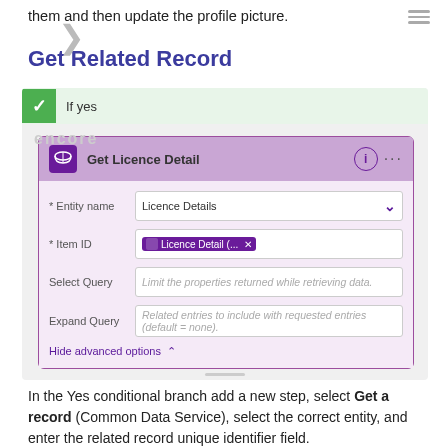them and then update the profile picture.
Get Related Record
[Figure (screenshot): Screenshot of a Power Automate workflow showing a 'Get Licence Detail' action card inside an 'If yes' conditional branch. The card has fields: Entity name (Licence Details), Item ID (Licence Detail token), Select Query (placeholder), Expand Query (placeholder), and a Hide advanced options link.]
In the Yes conditional branch add a new step, select Get a record (Common Data Service), select the correct entity, and enter the related record unique identifier field.